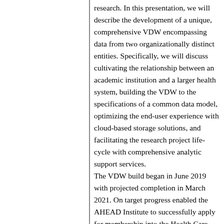research. In this presentation, we will describe the development of a unique, comprehensive VDW encompassing data from two organizationally distinct entities. Specifically, we will discuss cultivating the relationship between an academic institution and a larger health system, building the VDW to the specifications of a common data model, optimizing the end-user experience with cloud-based storage solutions, and facilitating the research project life-cycle with comprehensive analytic support services. The VDW build began in June 2019 with projected completion in March 2021. On target progress enabled the AHEAD Institute to successfully apply for membership into the Health Care Systems Research Network in September 2020. Challenges to development included identification and inclusion of key stakeholders in both...